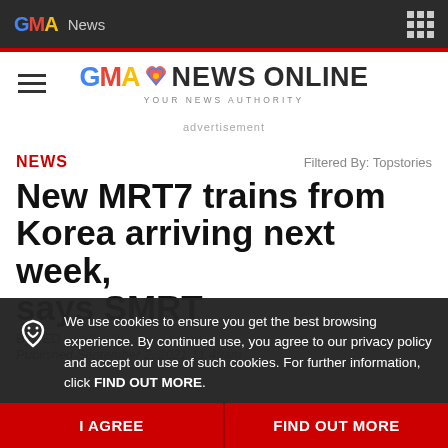GMA News
[Figure (logo): GMA News Online logo with tagline YOUR NEWS AUTHORITY]
advertisement
NEWS   Filtered By: Topstories
New MRT7 trains from Korea arriving next week,
says SMRT
By TED CORDERO, GMA News
Published September 2, 2021 11:49am
We use cookies to ensure you get the best browsing experience. By continued use, you agree to our privacy policy and accept our use of such cookies. For further information, click FIND OUT MORE.
I AGREE
FIND OUT MORE